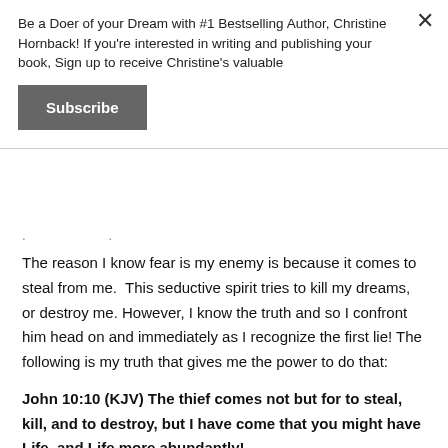Be a Doer of your Dream with #1 Bestselling Author, Christine Hornback! If you're interested in writing and publishing your book, Sign up to receive Christine's valuable
Subscribe
The reason I know fear is my enemy is because it comes to steal from me.  This seductive spirit tries to kill my dreams, or destroy me. However, I know the truth and so I confront him head on and immediately as I recognize the first lie! The following is my truth that gives me the power to do that:
John 10:10 (KJV) The thief comes not but for to steal, kill, and to destroy, but I have come that you might have Life, and Life more abundantly!